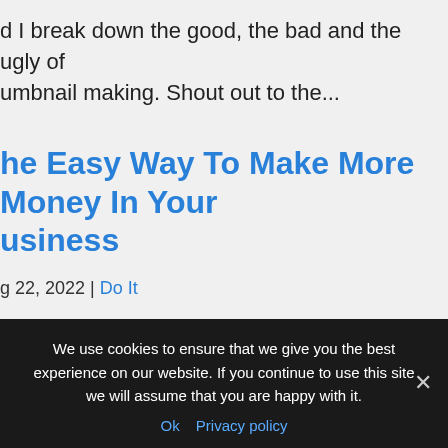d I break down the good, the bad and the ugly of umbnail making. Shout out to the...
he Easy Way To Make More Money In Your usiness
g 22, 2022 | Do It
ate: 2022-07-28 13:00:16 × Want To Know How I Built a assive Social Following? See ► http://millionfollowers-bootcamp.danlok.link Do You Want To Attract High Ticket ients with Ease? Start here ► http://highticketclients-
We use cookies to ensure that we give you the best experience on our website. If you continue to use this site we will assume that you are happy with it. Ok Privacy policy